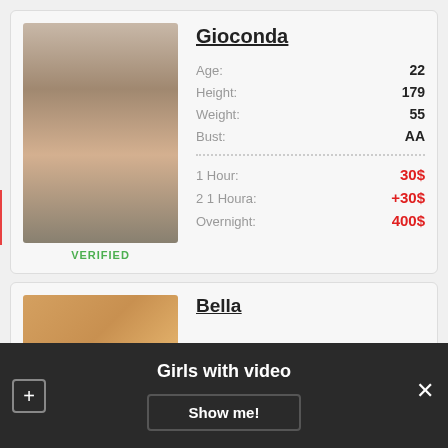[Figure (photo): Profile photo of Gioconda, a woman with long black curly hair, viewed from behind, standing in a room with a sofa]
VERIFIED
Gioconda
Age: 22
Height: 179
Weight: 55
Bust: AA
1 Hour: 30$
2 1 Houra: +30$
Overnight: 400$
[Figure (photo): Partial profile photo of Bella, a woman with long red/auburn hair viewed from behind]
Bella
Girls with video
Show me!